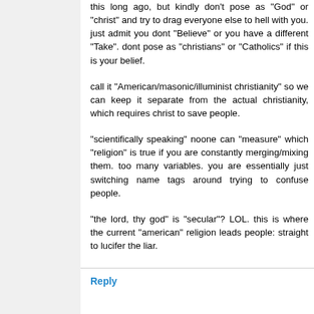this long ago, but kindly don't pose as "God" or "christ" and try to drag everyone else to hell with you. just admit you dont "Believe" or you have a different "Take". dont pose as "christians" or "Catholics" if this is your belief.
call it "American/masonic/illuminist christianity" so we can keep it separate from the actual christianity, which requires christ to save people.
"scientifically speaking" noone can "measure" which "religion" is true if you are constantly merging/mixing them. too many variables. you are essentially just switching name tags around trying to confuse people.
"the lord, thy god" is "secular"? LOL. this is where the current "american" religion leads people: straight to lucifer the liar.
Reply